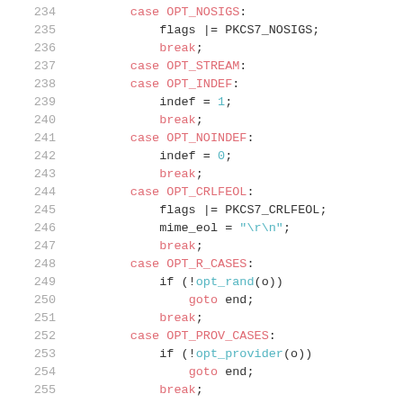[Figure (screenshot): Source code listing showing lines 234-256 of a C program. The code contains switch-case statements handling various OPT_ constants including OPT_NOSIGS, OPT_STREAM, OPT_INDEF, OPT_NOINDEF, OPT_CRLFEOL, OPT_R_CASES, OPT_PROV_CASES, and OPT_CONFIG. Keywords are in red/pink, numbers and strings in teal, identifiers in dark gray.]